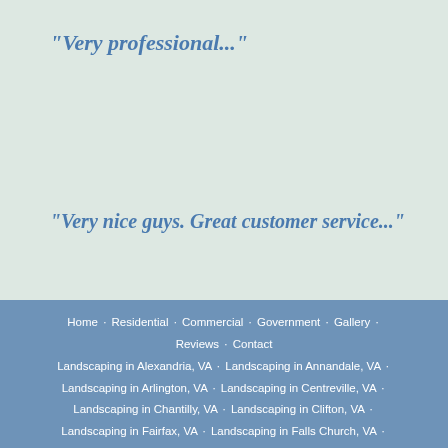"Very professional..."
"Very nice guys. Great customer service..."
Home · Residential · Commercial · Government · Gallery · Reviews · Contact · Landscaping in Alexandria, VA · Landscaping in Annandale, VA · Landscaping in Arlington, VA · Landscaping in Centreville, VA · Landscaping in Chantilly, VA · Landscaping in Clifton, VA · Landscaping in Fairfax, VA · Landscaping in Falls Church, VA · Landscaping in Fort Hunt, VA · Landscaping in Herndon, VA · Landscaping in Lorton, VA · Landscaping in McLean, VA · Landscaping in Mt. Vernon, VA · Landscaping in Oakton, VA ·